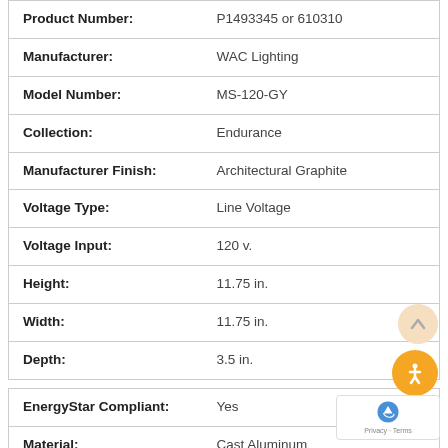| Attribute | Value |
| --- | --- |
| Product Number: | P1493345 or 610310 |
| Manufacturer: | WAC Lighting |
| Model Number: | MS-120-GY |
| Collection: | Endurance |
| Manufacturer Finish: | Architectural Graphite |
| Voltage Type: | Line Voltage |
| Voltage Input: | 120 v. |
| Height: | 11.75 in. |
| Width: | 11.75 in. |
| Depth: | 3.5 in. |
| EnergyStar Compliant: | Yes |
| Material: | Cast Aluminum |